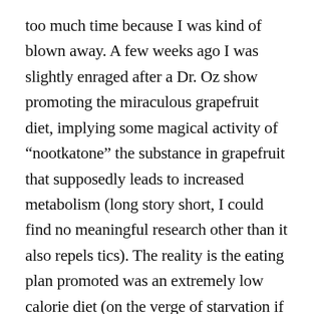too much time because I was kind of blown away. A few weeks ago I was slightly enraged after a Dr. Oz show promoting the miraculous grapefruit diet, implying some magical activity of “nootkatone” the substance in grapefruit that supposedly leads to increased metabolism (long story short, I could find no meaningful research other than it also repels tics). The reality is the eating plan promoted was an extremely low calorie diet (on the verge of starvation if you ask me) which clearly would cause weight to be lost (from muscle breakdown, water loss mostly and probably not the grapefruit). Oh, and nootkatone is found primarily in the skin.